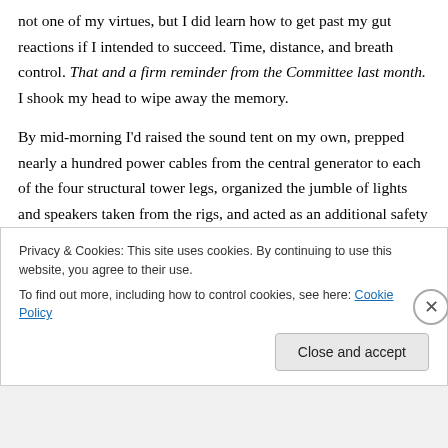not one of my virtues, but I did learn how to get past my gut reactions if I intended to succeed. Time, distance, and breath control. That and a firm reminder from the Committee last month. I shook my head to wipe away the memory.
By mid-morning I'd raised the sound tent on my own, prepped nearly a hundred power cables from the central generator to each of the four structural tower legs, organized the jumble of lights and speakers taken from the rigs, and acted as an additional safety spotter from below.
Privacy & Cookies: This site uses cookies. By continuing to use this website, you agree to their use.
To find out more, including how to control cookies, see here: Cookie Policy